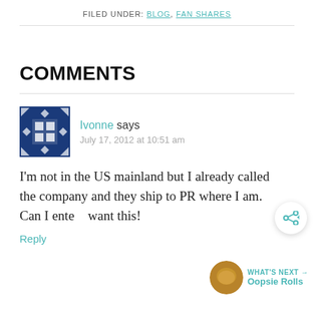FILED UNDER: BLOG, FAN SHARES
COMMENTS
Ivonne says
July 17, 2012 at 10:51 am

I'm not in the US mainland but I already called the company and they ship to PR where I am. Can I ente... want this!
Reply